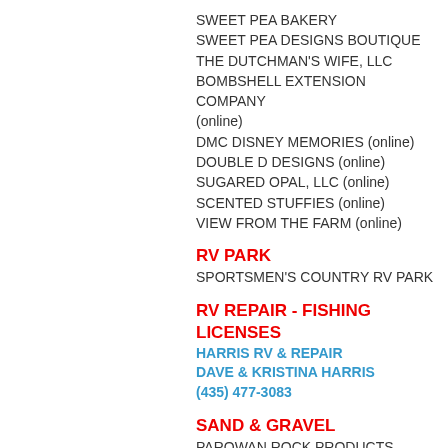SWEET PEA BAKERY
SWEET PEA DESIGNS BOUTIQUE
THE DUTCHMAN'S WIFE, LLC
BOMBSHELL EXTENSION COMPANY (online)
DMC DISNEY MEMORIES (online)
DOUBLE D DESIGNS (online)
SUGARED OPAL, LLC (online)
SCENTED STUFFIES (online)
VIEW FROM THE FARM (online)
RV PARK
SPORTSMEN'S COUNTRY RV PARK
RV REPAIR - FISHING LICENSES
HARRIS RV & REPAIR
DAVE & KRISTINA HARRIS
(435) 477-3083
SAND & GRAVEL
PAROWAN ROCK PRODUCTS
SANITATION & GARBAGE
MOSDELL SANITATION, INC